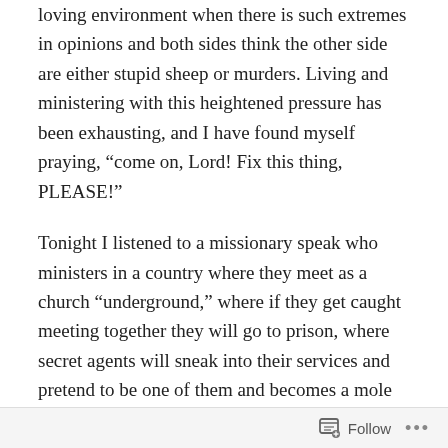loving environment when there is such extremes in opinions and both sides think the other side are either stupid sheep or murders. Living and ministering with this heightened pressure has been exhausting, and I have found myself praying, “come on, Lord! Fix this thing, PLEASE!”
Tonight I listened to a missionary speak who ministers in a country where they meet as a church “underground,” where if they get caught meeting together they will go to prison, where secret agents will sneak into their services and pretend to be one of them and becomes a mole who informs on them to the police.
As I listened I realized that this person was struggling to minister far beyond what I was experiencing. The
Follow